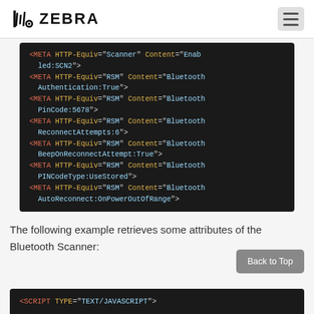ZEBRA
[Figure (screenshot): Dark-themed code block showing META HTTP-Equiv tags for RSM Bluetooth configuration including Authentication:True, PinCode:5678, ReconnectAttempts:6, BeepOnReconnectAttempt:True, PINCodeType:UseStored, AutoReconnect:OnPowerOutOfRange]
The following example retrieves some attributes of the Bluetooth Scanner:
[Figure (screenshot): Dark-themed code block showing start of SCRIPT tag: <SCRIPT TYPE="TEXT/JAVASCRIPT">]